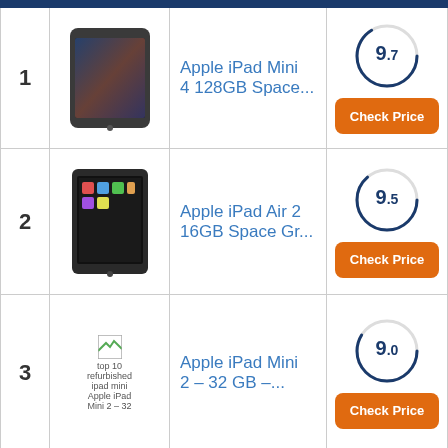1 — Apple iPad Mini 4 128GB Space... Score: 9.7
2 — Apple iPad Air 2 16GB Space Gr... Score: 9.5
3 — Apple iPad Mini 2 – 32 GB –... Score: 9.0